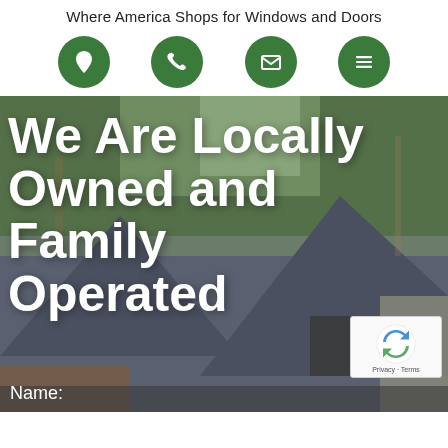Where America Shops for Windows and Doors
[Figure (infographic): Four green circle icon buttons in a row: location pin, phone, envelope/email, hamburger menu]
[Figure (photo): Photo of a house exterior with dark gray siding, peaked rooflines, and green trees in background. Overlaid bold white text reads 'We Are Locally Owned and Family Operated'. A reCAPTCHA widget is in the bottom right corner. A form field label 'Name:' appears at the bottom left.]